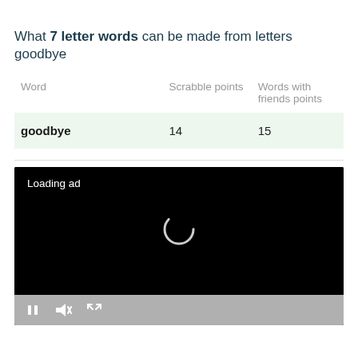What 7 letter words can be made from letters goodbye
| Word | Scrabble points | Words with friends points |
| --- | --- | --- |
| goodbye | 14 | 15 |
[Figure (screenshot): Video ad player showing 'Loading ad' text with a spinner icon and playback controls (pause, mute, fullscreen) on a dark gray bar below a black video area.]